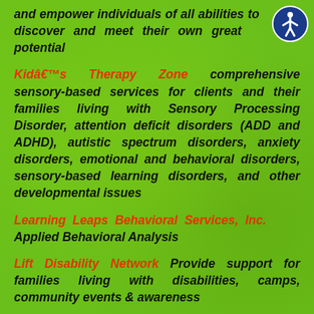and empower individuals of all abilities to discover and meet their own greatest potential
Kidâ€™s Therapy Zone comprehensive sensory-based services for clients and their families living with Sensory Processing Disorder, attention deficit disorders (ADD and ADHD), autistic spectrum disorders, anxiety disorders, emotional and behavioral disorders, sensory-based learning disorders, and other developmental issues
Learning Leaps Behavioral Services, Inc. Applied Behavioral Analysis
Lift Disability Network Provide support for families living with disabilities, camps, community events & awareness